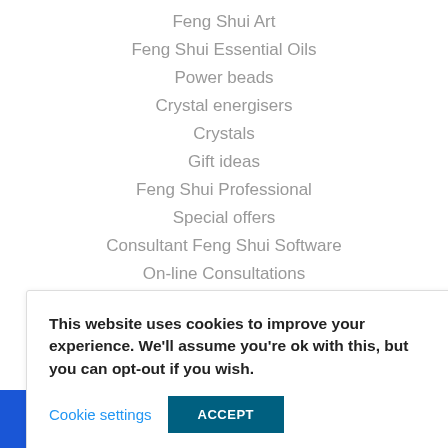Feng Shui Art
Feng Shui Essential Oils
Power beads
Crystal energisers
Crystals
Gift ideas
Feng Shui Professional
Special offers
Consultant Feng Shui Software
On-line Consultations
Annual Feng Shui Cures & Enhancers
Annual #1 Star Cures
Annual #2 Star Cures
This website uses cookies to improve your experience. We'll assume you're ok with this, but you can opt-out if you wish.
Cookie settings  ACCEPT
346